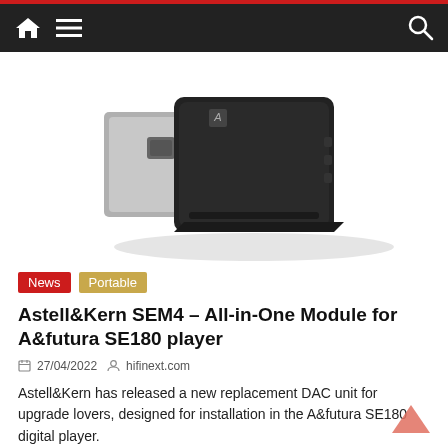Navigation bar with home, menu, and search icons
[Figure (photo): Product photo of Astell&Kern SEM4 DAC module — a black and silver electronic device shown at an angle against a white background]
News  Portable
Astell&Kern SEM4 – All-in-One Module for A&futura SE180 player
27/04/2022   hifinext.com
Astell&Kern has released a new replacement DAC unit for upgrade lovers, designed for installation in the A&futura SE180 digital player.